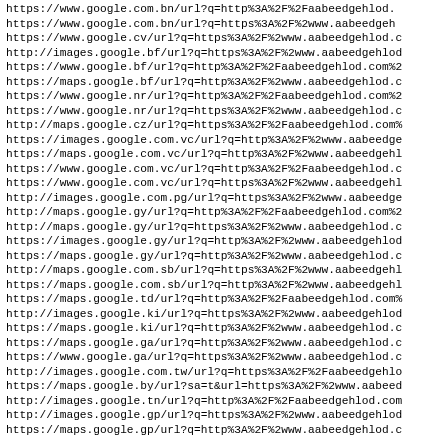https://www.google.com.bn/url?q=http%3A%2F%2Faabeedgehlod.
https://www.google.com.bn/url?q=https%3A%2F%2www.aabeedgeh
https://www.google.cv/url?q=https%3A%2F%2www.aabeedgehlod.c
http://images.google.bf/url?q=https%3A%2F%2www.aabeedgehlod
https://www.google.bf/url?q=http%3A%2F%2Faabeedgehlod.com%2
https://maps.google.bf/url?q=http%3A%2F%2www.aabeedgehlod.c
https://www.google.nr/url?q=http%3A%2F%2Faabeedgehlod.com%2
https://www.google.nr/url?q=https%3A%2F%2www.aabeedgehlod.c
http://maps.google.cz/url?q=https%3A%2F%2Faabeedgehlod.com%
https://images.google.com.vc/url?q=http%3A%2F%2www.aabeedge
https://maps.google.com.vc/url?q=http%3A%2F%2www.aabeedgehl
https://www.google.com.vc/url?q=http%3A%2F%2Faabeedgehlod.c
https://www.google.com.vc/url?q=https%3A%2F%2www.aabeedgehl
http://images.google.com.pg/url?q=https%3A%2F%2www.aabeedge
http://maps.google.gy/url?q=http%3A%2F%2Faabeedgehlod.com%2
http://maps.google.gy/url?q=https%3A%2F%2www.aabeedgehlod.c
https://images.google.gy/url?q=http%3A%2F%2www.aabeedgehlod
https://maps.google.gy/url?q=http%3A%2F%2www.aabeedgehlod.c
http://maps.google.com.sb/url?q=https%3A%2F%2www.aabeedgehl
https://maps.google.com.sb/url?q=http%3A%2F%2www.aabeedgehl
https://maps.google.td/url?q=http%3A%2F%2Faabeedgehlod.com%
http://images.google.ki/url?q=https%3A%2F%2www.aabeedgehlod
https://maps.google.ki/url?q=http%3A%2F%2www.aabeedgehlod.c
https://maps.google.ga/url?q=http%3A%2F%2www.aabeedgehlod.c
https://www.google.ga/url?q=https%3A%2F%2www.aabeedgehlod.c
http://images.google.com.tw/url?q=https%3A%2F%2Faabeedgehlo
https://maps.google.by/url?sa=t&url=https%3A%2F%2www.aabeed
http://images.google.tn/url?q=http%3A%2F%2Faabeedgehlod.com
http://images.google.gp/url?q=https%3A%2F%2www.aabeedgehlod
https://maps.google.gp/url?q=http%3A%2F%2www.aabeedgehlod.c